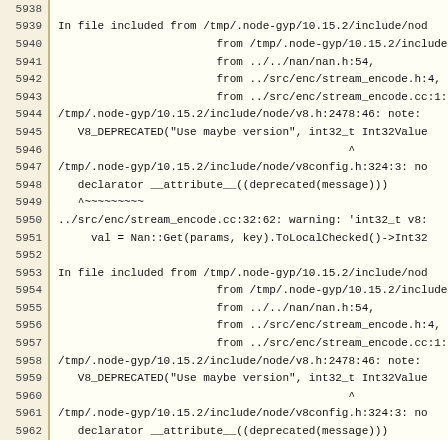Code listing lines 5938-5962 showing compiler output for node-gyp build with deprecation notes and warnings about int32_t v8 usage in stream_encode.cc